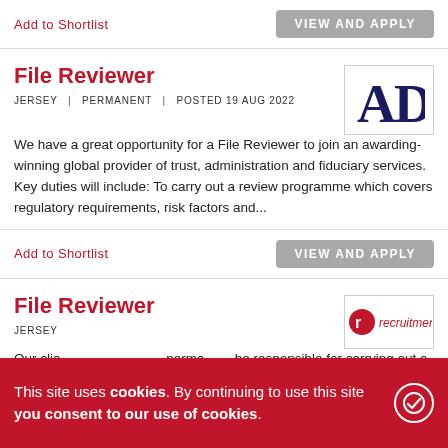Add to Shortlist
VIEW AND APPLY
File Reviewer
JERSEY | PERMANENT | POSTED 19 AUG 2022
[Figure (logo): AD company logo in dark navy blue serif font on white background]
We have a great opportunity for a File Reviewer to join an awarding-winning global provider of trust, administration and fiduciary services. Key duties will include: To carry out a review programme which covers regulatory requirements, risk factors and...
Add to Shortlist
VIEW AND APPLY
File Reviewer
[Figure (logo): Red recruitment company logo with person icon and text 'recruitment']
JERSEY
Our clie... perma... programme within the company which will include covering all
This site uses cookies. By continuing to use this site you consent to our use of cookies.